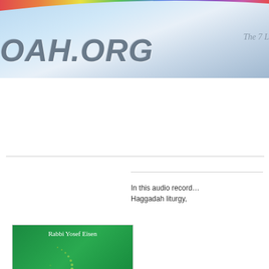OAH.ORG | The 7 [Laws] — website header banner with rainbow and navigation
[Figure (screenshot): Website navigation bar with links: HOME, 7 NOAHIDE LAWS, INSIGHTS, MEDIA, FAQ, NOAH...]
[Figure (illustration): Book cover: 'Miraculous Journey' by Rabbi Yosef Eisen — green background with staircase design, white and yellow title text]
In this audio record... Haggadah liturgy,